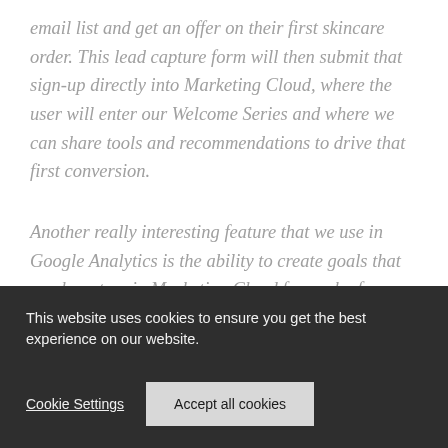email list and get an offer on their first skincare order. This lead capture form will then submit that sign-up directly into Marketing Cloud, where the user will enter our Welcome Series and where we can share tools and recommendations to drive that first conversion.
Another really interesting feature that we use in Google Analytics is the ability to create goals that can be set up in Marketing Cloud for each of our journeys in Journey Builder. Sometimes the goal
This website uses cookies to ensure you get the best experience on our website.
Cookie Settings
Accept all cookies